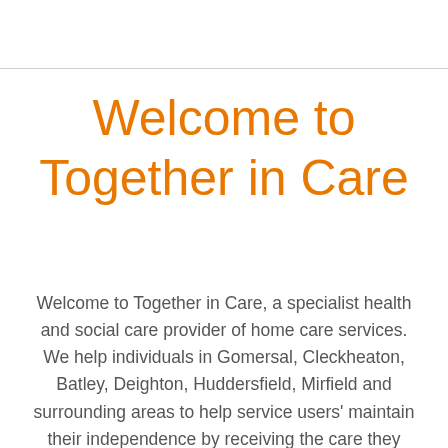Welcome to Together in Care
Welcome to Together in Care, a specialist health and social care provider of home care services. We help individuals in Gomersal, Cleckheaton, Batley, Deighton, Huddersfield, Mirfield and surrounding areas to help service users' maintain their independence by receiving the care they need in the safety and comfort of their homes, as we understand that home is where you feel the